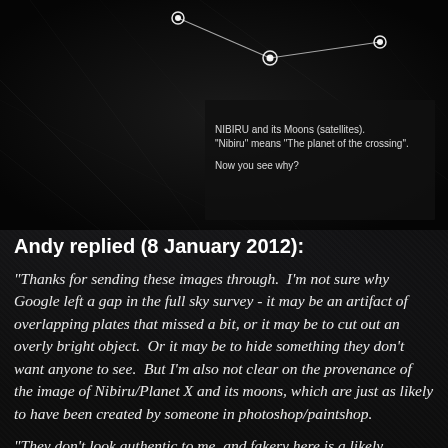[Figure (illustration): Dark astronomical image showing labeled diagram of NIBIRU and its moons (satellites) with connecting lines, white dots representing celestial bodies, and text: 'NIBIRU and its Moons (satellites). "Nibiru" means "The planet of the crossing". Now you see why?']
Andy replied (8 January 2012):
"Thanks for sending these images through.  I'm not sure why Google left a gap in the full sky survey - it may be an artifact of overlapping plates that missed a bit, or it may be to cut out an overly bright object.  Or it may be to hide something they don't want anyone to see.  But I'm also not clear on the provenance of the image of Nibiru/Planet X and its moons, which are just as likely to have been created by someone in photoshop/paintshop.
"They don't look authentic to me, and fakery here is a likely